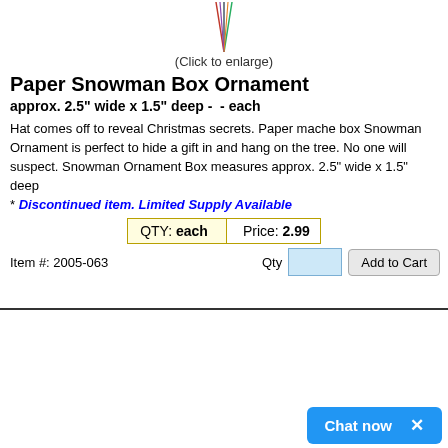[Figure (photo): Top portion of a Christmas ornament with colorful ribbon/string hanger against white background]
(Click to enlarge)
Paper Snowman Box Ornament
approx. 2.5" wide x 1.5" deep -  - each
Hat comes off to reveal Christmas secrets. Paper mache box Snowman Ornament is perfect to hide a gift in and hang on the tree. No one will suspect. Snowman Ornament Box measures approx. 2.5" wide x 1.5" deep
* Discontinued item. Limited Supply Available
| QTY: each | Price: 2.99 |
Item #: 2005-063
[Figure (photo): A collection of small black round beads/balls scattered on white background]
Chat now